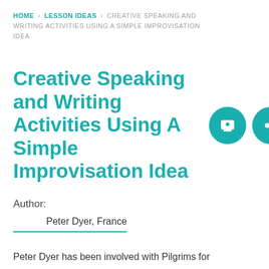HOME > LESSON IDEAS > CREATIVE SPEAKING AND WRITING ACTIVITIES USING A SIMPLE IMPROVISATION IDEA
Creative Speaking and Writing Activities Using A Simple Improvisation Idea
Author:
Peter Dyer, France
Peter Dyer has been involved with Pilgrims for